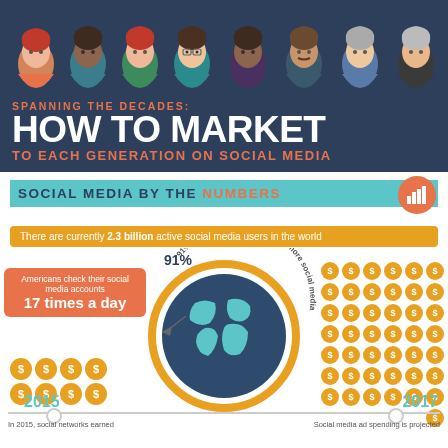[Figure (illustration): Diverse group of avatar illustrations (people of various ages) across top of infographic on dark navy background]
SPANNING THE DECADES: HOW TO MARKET TO EACH GENERATION ON SOCIAL MEDIA
SOCIAL MEDIA BY THE NUMBERS
There are currently 2.3 billion active social media users in the world
[Figure (infographic): Globe illustration with orange ring, 91% arc text reading '91% of retail brands use two or more social media platforms'. Left: stat box - Americans check their social media accounts 17 times a day. Left bottom: 8 dollar sign circles (2015). Right: 42 dollar sign circles (2017). Timeline with 2015 and 2017 year labels.]
In 2015, social networks earned
Social media ad spending is projected